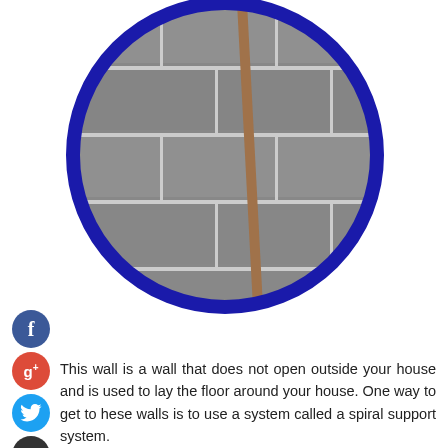[Figure (photo): A circular photo with a thick dark blue border showing a close-up of cracked concrete block wall with wooden supports/rods visible, suggesting structural damage or repair work.]
[Figure (infographic): Three social media icon circles on the left side: Facebook (blue, 'f'), Google+ (red, 'g+'), Twitter (light blue, bird icon), and a dark Add/Plus button.]
This wall is a wall that does not open outside your house and is used to lay the floor around your house. One way to get to hese walls is to use a system called a spiral support system.